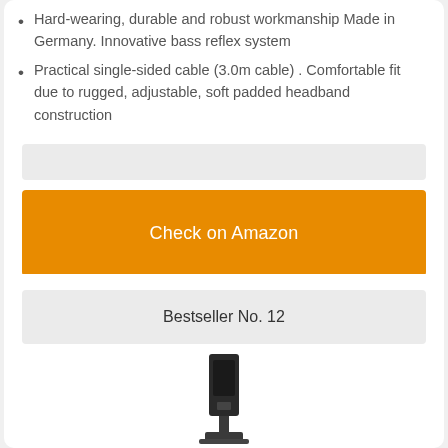Hard-wearing, durable and robust workmanship Made in Germany. Innovative bass reflex system
Practical single-sided cable (3.0m cable) . Comfortable fit due to rugged, adjustable, soft padded headband construction
Check on Amazon
Bestseller No. 12
[Figure (photo): Product image of a microphone or audio device, dark colored, shown partially at bottom of page]